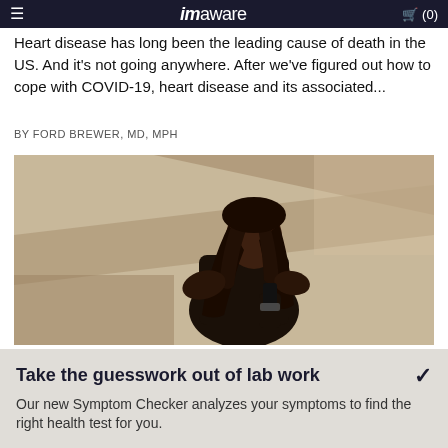imaware  (0)
Heart disease has long been the leading cause of death in the US. And it's not going anywhere. After we've figured out how to cope with COVID-19, heart disease and its associated...
BY FORD BREWER, MD, MPH
[Figure (photo): A woman with long braided hair wearing a dark top, standing against a warm beige/tan wall with diagonal shadows, holding a dark bottle, eyes closed, sunlit athletic portrait.]
DIABETES
16 Heart-Healthy Foods To Help Unclog Arteries
Take the guesswork out of lab work
Our new Symptom Checker analyzes your symptoms to find the right health test for you.